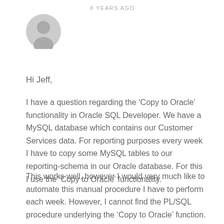8 YEARS AGO
[Figure (illustration): Gray circular user avatar/profile icon]
Hi Jeff,
I have a question regarding the ‘Copy to Oracle’ functionality in Oracle SQL Developer. We have a MySQL database which contains our Customer Services data. For reporting purposes every week I have to copy some MySQL tables to our reporting-schema in our Oracle database. For this I use the ‘Copy to Oracle’ functionality.
This works well, however I would very much like to automate this manual procedure I have to perform each week. However, I cannot find the PL/SQL procedure underlying the ‘Copy to Oracle’ function.